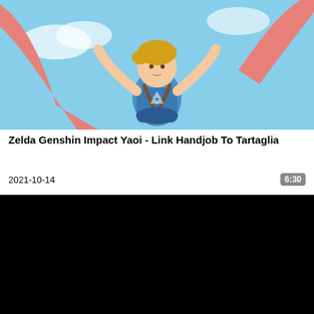[Figure (illustration): Animated character (Link from Zelda) in blue outfit floating/jumping against a light blue sky background with large pink/red limbs visible around him]
Zelda Genshin Impact Yaoi - Link Handjob To Tartaglia
2021-10-14
6:30
[Figure (screenshot): Black video player area]